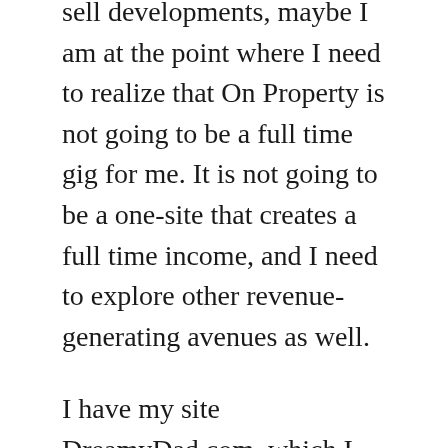sell developments, maybe I am at the point where I need to realize that On Property is not going to be a full time gig for me. It is not going to be a one-site that creates a full time income, and I need to explore other revenue-generating avenues as well.
I have my site DreamyDad.com, which I have created. But that is probably not going to do anything for at least 6 months. I am really spewing that I got rid of Inspiring Audio Books and I got